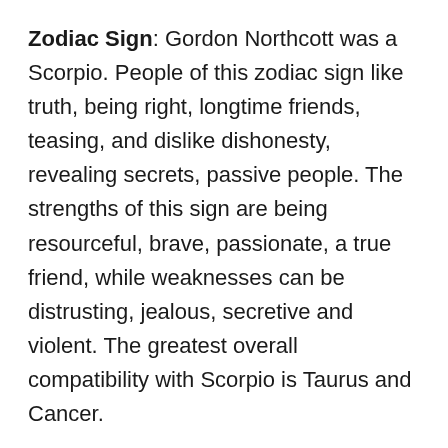Zodiac Sign: Gordon Northcott was a Scorpio. People of this zodiac sign like truth, being right, longtime friends, teasing, and dislike dishonesty, revealing secrets, passive people. The strengths of this sign are being resourceful, brave, passionate, a true friend, while weaknesses can be distrusting, jealous, secretive and violent. The greatest overall compatibility with Scorpio is Taurus and Cancer.
Chinese Zodiac: Gordon Northcott was born in the Year of the Tiger. People born under this sign are seen as warm-hearted and